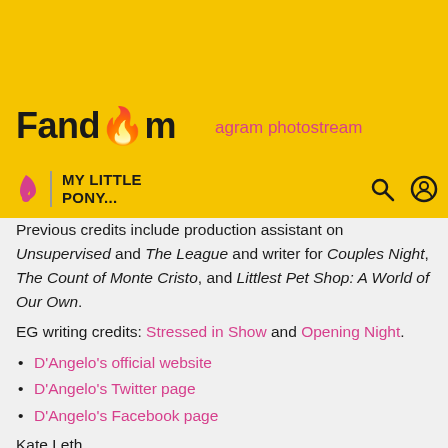Fandom | My Little Pony... | agram photostream
Previous credits include production assistant on Unsupervised and The League and writer for Couples Night, The Count of Monte Cristo, and Littlest Pet Shop: A World of Our Own.
EG writing credits: Stressed in Show and Opening Night.
D'Angelo's official website
D'Angelo's Twitter page
D'Angelo's Facebook page
Kate Leth
Previous writing credits include Patsy Walker, Vampirella, Spell on Wheels, and Bravest Warriors comics and graphic